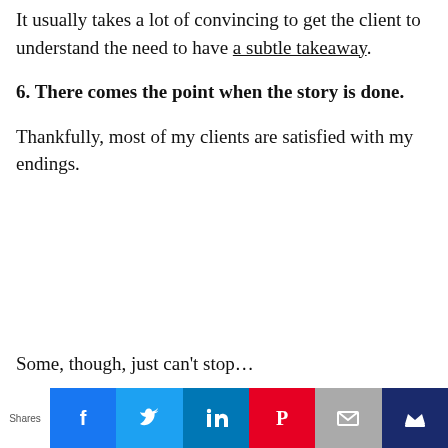It usually takes a lot of convincing to get the client to understand the need to have a subtle takeaway.
6. There comes the point when the story is done.
Thankfully, most of my clients are satisfied with my endings.
Some, though, just can't stop…
Shares [Facebook] [Twitter] [LinkedIn] [Pinterest] [Email] [Kindle]